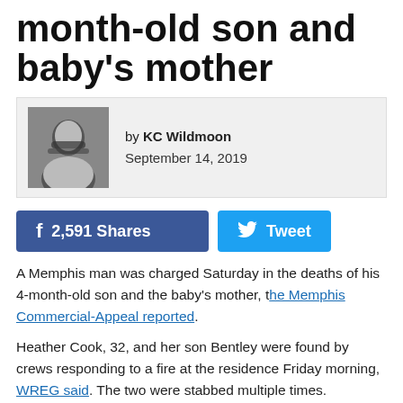month-old son and baby's mother
by KC Wildmoon
September 14, 2019
f  2,591 Shares    Tweet
A Memphis man was charged Saturday in the deaths of his 4-month-old son and the baby's mother, the Memphis Commercial-Appeal reported.
Heather Cook, 32, and her son Bentley were found by crews responding to a fire at the residence Friday morning, WREG said. The two were stabbed multiple times.
Enoch Zarceno, 25, has been charged with two counts of first-